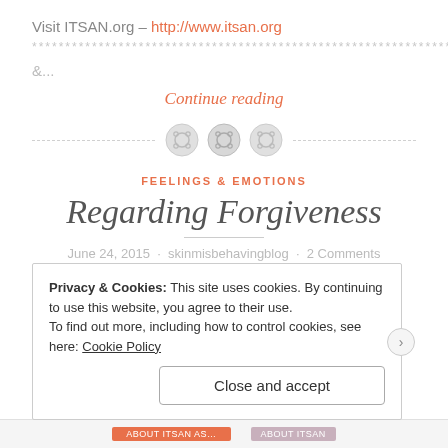Visit ITSAN.org – http://www.itsan.org
******************************************************************** RSS
&...
Continue reading
[Figure (illustration): Decorative divider with three button icons and dashed lines on either side]
FEELINGS & EMOTIONS
Regarding Forgiveness
June 24, 2015  ·  skinmisbehavingblog  ·  2 Comments
Privacy & Cookies: This site uses cookies. By continuing to use this website, you agree to their use.
To find out more, including how to control cookies, see here: Cookie Policy
Close and accept